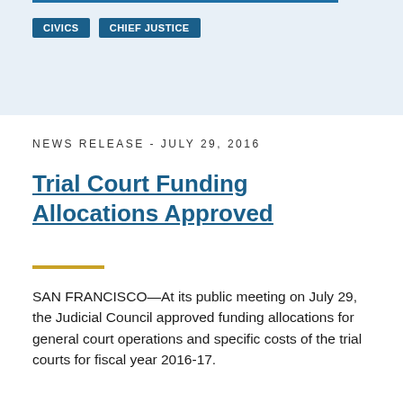[Figure (other): Top banner area with light blue background, a blue horizontal line at the top, and tag badges reading CIVICS and CHIEF JUSTICE]
NEWS RELEASE - JULY 29, 2016
Trial Court Funding Allocations Approved
SAN FRANCISCO—At its public meeting on July 29, the Judicial Council approved funding allocations for general court operations and specific costs of the trial courts for fiscal year 2016-17.